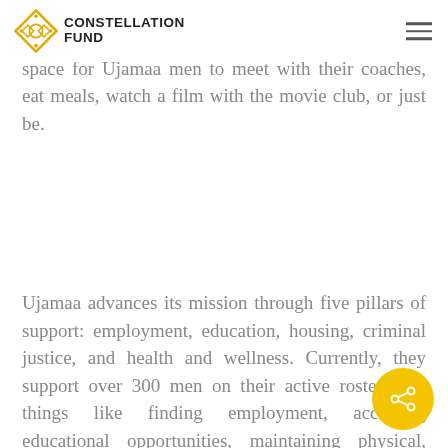CONSTELLATION FUND
in Saint Paul, are designed to provide comfortable space for Ujamaa men to meet with their coaches, eat meals, watch a film with the movie club, or just be.
Ujamaa advances its mission through five pillars of support: employment, education, housing, criminal justice, and health and wellness. Currently, they support over 300 men on their active roster with things like finding employment, accessing educational opportunities, maintaining physical, emotional, and spiritual health, finding housing, and fulfilling the terms of their parole or expunging what can be expunged. Upon entry into the program, each Ujamaa man is assigned